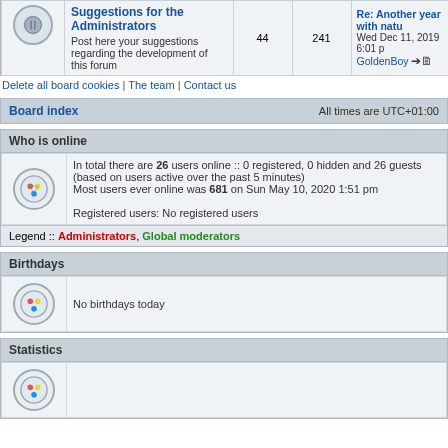|  | Suggestions for the Administrators | Posts | Topics | Last post |
| --- | --- | --- | --- | --- |
|  | Suggestions for the Administrators
Post here your suggestions regarding the development of this forum | 44 | 241 | Re: Another year with natu...
Wed Dec 11, 2019 6:01 p
GoldenBoy |
Delete all board cookies | The team | Contact us
Board index    All times are UTC+01:00
Who is online
In total there are 26 users online :: 0 registered, 0 hidden and 26 guests (based on users active over the past 5 minutes)
Most users ever online was 681 on Sun May 10, 2020 1:51 pm

Registered users: No registered users
Legend :: Administrators, Global moderators
Birthdays
No birthdays today
Statistics